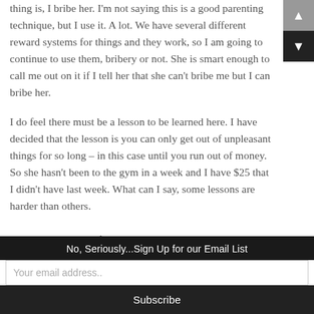thing is, I bribe her. I'm not saying this is a good parenting technique, but I use it. A lot. We have several different reward systems for things and they work, so I am going to continue to use them, bribery or not. She is smart enough to call me out on it if I tell her that she can't bribe me but I can bribe her.
I do feel there must be a lesson to be learned here. I have decided that the lesson is you can only get out of unpleasant things for so long – in this case until you run out of money. So she hasn't been to the gym in a week and I have $25 that I didn't have last week. What can I say, some lessons are harder than others.
Wanna Go For a Ride?
No, Seriously...Sign Up for our Email List